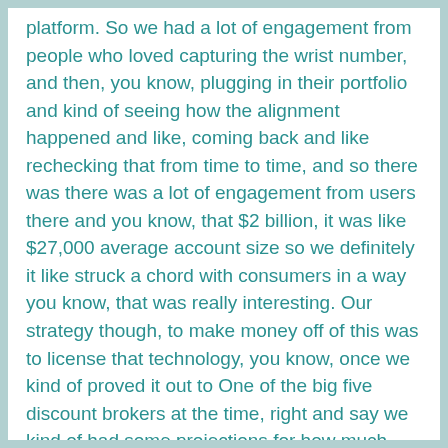platform. So we had a lot of engagement from people who loved capturing the wrist number, and then, you know, plugging in their portfolio and kind of seeing how the alignment happened and like, coming back and like rechecking that from time to time, and so there was there was a lot of engagement from users there and you know, that $2 billion, it was like $27,000 average account size so we definitely it like struck a chord with consumers in a way you know, that was really interesting. Our strategy though, to make money off of this was to license that technology, you know, once we kind of proved it out to One of the big five discount brokers at the time, right and say we kind of had some projections for how much money we thought we could make off that we weren't going to, you know, we weren't going to be wildly successful with that money. But we planned on using that money to sustain the company in investing in the advisor product that we really wanted to build, right. And so, you know, I'm criss crossing the country in 2012, trying to put a deal together with one of these five discount brokers. And it didn't, it was not going well, like, within short order, like three of the five